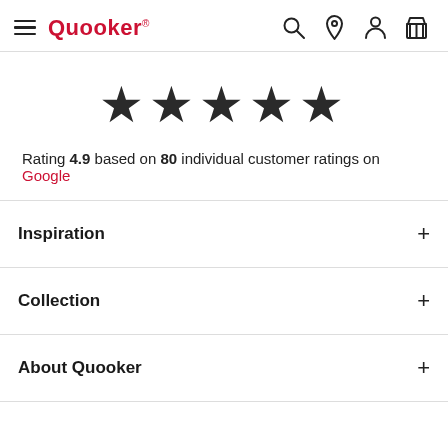Quooker
[Figure (other): Five filled star rating icons in dark/black color]
Rating 4.9 based on 80 individual customer ratings on Google
Inspiration +
Collection +
About Quooker +